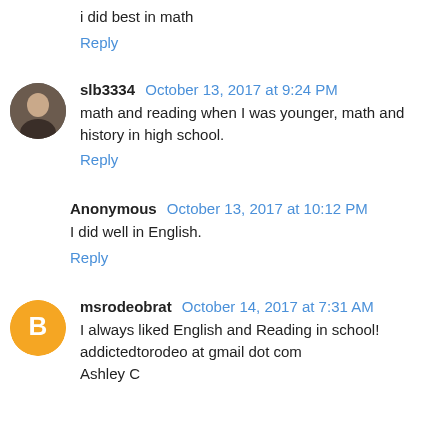i did best in math
Reply
slb3334 October 13, 2017 at 9:24 PM
math and reading when I was younger, math and history in high school.
Reply
Anonymous October 13, 2017 at 10:12 PM
I did well in English.
Reply
msrodeobrat October 14, 2017 at 7:31 AM
I always liked English and Reading in school! addictedtorodeo at gmail dot com Ashley C